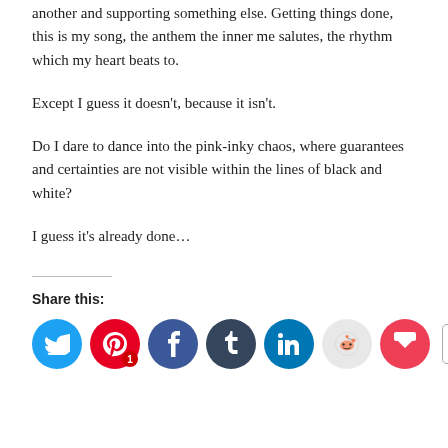another and supporting something else. Getting things done, this is my song, the anthem the inner me salutes, the rhythm which my heart beats to.
Except I guess it doesn't, because it isn't.
Do I dare to dance into the pink-inky chaos, where guarantees and certainties are not visible within the lines of black and white?
I guess it's already done…
Share this: